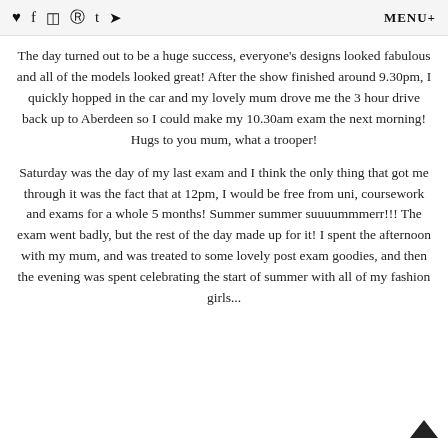♥ f ⊡ ® t ♦  MENU+
The day turned out to be a huge success, everyone's designs looked fabulous and all of the models looked great! After the show finished around 9.30pm, I quickly hopped in the car and my lovely mum drove me the 3 hour drive back up to Aberdeen so I could make my 10.30am exam the next morning! Hugs to you mum, what a trooper!
Saturday was the day of my last exam and I think the only thing that got me through it was the fact that at 12pm, I would be free from uni, coursework and exams for a whole 5 months! Summer summer suuuummmerr!!! The exam went badly, but the rest of the day made up for it! I spent the afternoon with my mum, and was treated to some lovely post exam goodies, and then the evening was spent celebrating the start of summer with all of my fashion girls...